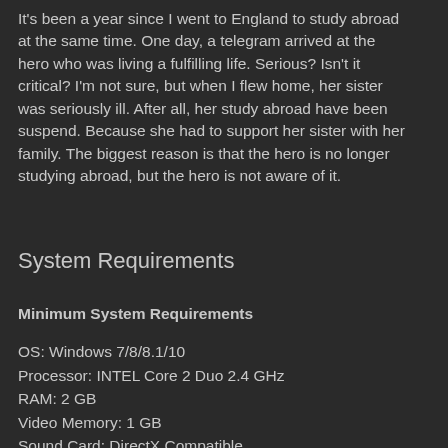It's been a year since I went to England to study abroad at the same time. One day, a telegram arrived at the hero who was living a fulfilling life. Serious? Isn't it critical? I'm not sure, but when I flew home, her sister was seriously ill. After all, her study abroad have been suspend. Because she had to support her sister with her family. The biggest reason is that the hero is no longer studying abroad, but the hero is not aware of it.
System Requirements
Minimum System Requirements
OS: Windows 7/8/8.1/10
Processor: INTEL Core 2 Duo 2.4 GHz
RAM: 2 GB
Video Memory: 1 GB
Sound Card: DirectX Compatible
DirectX: 10
Hard Drive: 30 GB f